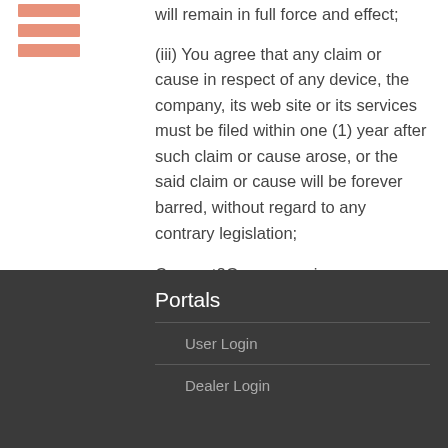will remain in full force and effect;
(iii) You agree that any claim or cause in respect of any device, the company, its web site or its services must be filed within one (1) year after such claim or cause arose, or the said claim or cause will be forever barred, without regard to any contrary legislation;
Connect2Go may assign Connect2Go's rights and obligations under these Terms of use; in this event, Connect2Go will be relieved of any further obligation.
Portals
User Login
Dealer Login